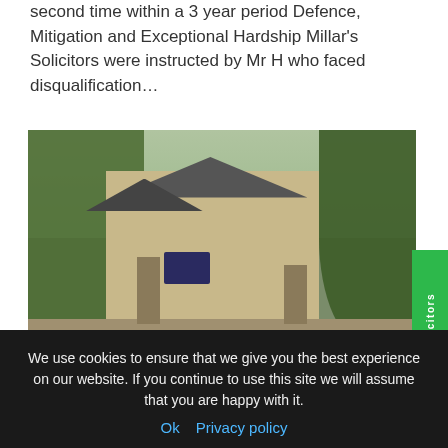second time within a 3 year period Defence, Mitigation and Exceptional Hardship Millar's Solicitors were instructed by Mr H who faced disqualification...
[Figure (photo): Street-level photo of a stone building identified as Bath Law Courts, with green trees, stone gate pillars, a boundary wall, and a parked car in the foreground.]
We use cookies to ensure that we give you the best experience on our website. If you continue to use this site we will assume that you are happy with it.
Ok  Privacy policy